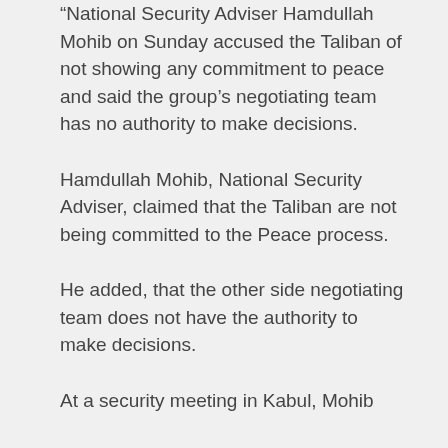“National Security Adviser Hamdullah Mohib on Sunday accused the Taliban of not showing any commitment to peace and said the group’s negotiating team has no authority to make decisions.
Hamdullah Mohib, National Security Adviser, claimed that the Taliban are not being committed to the Peace process.
He added, that the other side negotiating team does not have the authority to make decisions.
At a security meeting in Kabul, Mohib